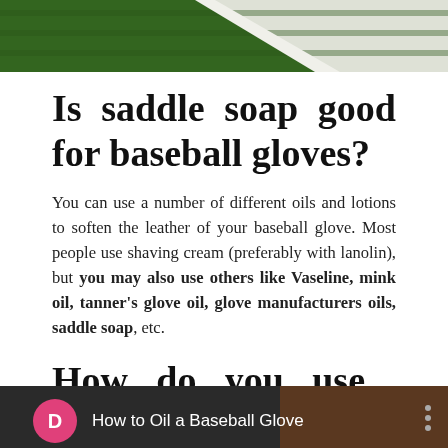[Figure (photo): Top portion of a baseball field showing green grass and white foul line]
Is saddle soap good for baseball gloves?
You can use a number of different oils and lotions to soften the leather of your baseball glove. Most people use shaving cream (preferably with lanolin), but you may also use others like Vaseline, mink oil, tanner’s glove oil, glove manufacturers oils, saddle soap, etc.
How do you use neatsfoot oil on a baseball glove?
How to Oil a Baseball Glove
[Figure (screenshot): Video thumbnail showing a baseball glove, with a pink circle icon with letter D and text 'How to Oil a Baseball Glove']